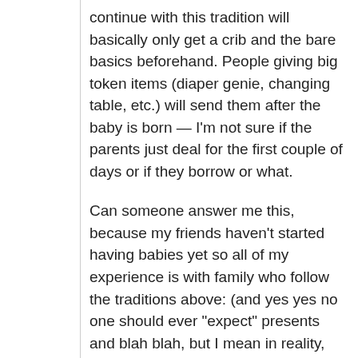continue with this tradition will basically only get a crib and the bare basics beforehand. People giving big token items (diaper genie, changing table, etc.) will send them after the baby is born — I'm not sure if the parents just deal for the first couple of days or if they borrow or what.
Can someone answer me this, because my friends haven't started having babies yet so all of my experience is with family who follow the traditions above: (and yes yes no one should ever "expect" presents and blah blah, but I mean in reality, based on everyone's real understanding of social protolol): are you supposed to give a present at the shower AND a present when the baby is born? Or is the present at the shower INSTEAD of giving a (non-trinket) present when the baby is born? (I understand most...